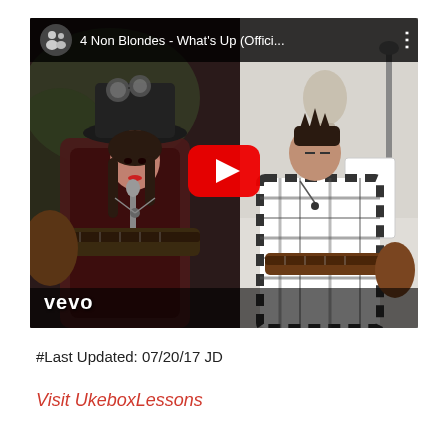[Figure (screenshot): YouTube video thumbnail for '4 Non Blondes - What's Up (Offici...' showing two musicians with guitars, a YouTube play button overlay, and vevo branding in the bottom left corner.]
#Last Updated: 07/20/17 JD
Visit UkeboxLessons